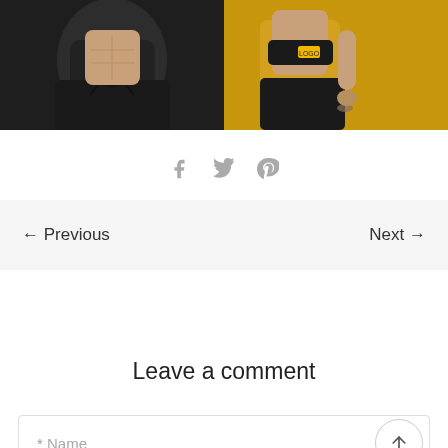[Figure (photo): Cropped photo of two fitness models wearing black athletic wear against a yellow/dark background, showing torsos only]
[Figure (infographic): Social share icons: Facebook (f), Twitter (bird), Pinterest (p) in gray]
← Previous    Next →
Leave a comment
* Name